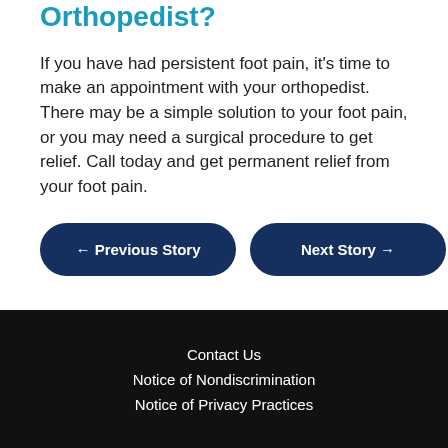Orthopedist?
If you have had persistent foot pain, it's time to make an appointment with your orthopedist. There may be a simple solution to your foot pain, or you may need a surgical procedure to get relief. Call today and get permanent relief from your foot pain.
← Previous Story
Next Story →
Contact Us
Notice of Nondiscrimination
Notice of Privacy Practices